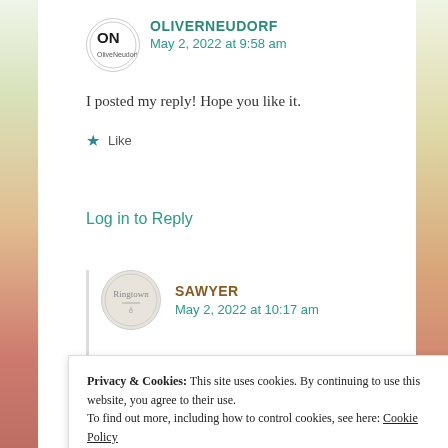OLIVERNEUDORF
May 2, 2022 at 9:58 am
I posted my reply! Hope you like it.
Like
Log in to Reply
SAWYER
May 2, 2022 at 10:17 am
Privacy & Cookies: This site uses cookies. By continuing to use this website, you agree to their use. To find out more, including how to control cookies, see here: Cookie Policy
Close and accept